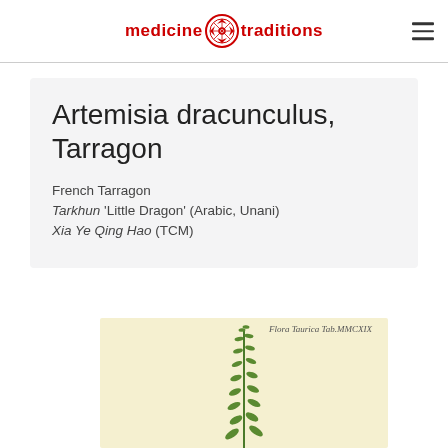medicine traditions
Artemisia dracunculus, Tarragon
French Tarragon
Tarkhun 'Little Dragon' (Arabic, Unani)
Xia Ye Qing Hao (TCM)
[Figure (illustration): Botanical illustration of Artemisia dracunculus (Tarragon) showing a green plant with small oval leaves arranged along a central upright stem, on a cream/yellow background. Text in top right reads 'Flora Taurica Tab.MMCXIX']